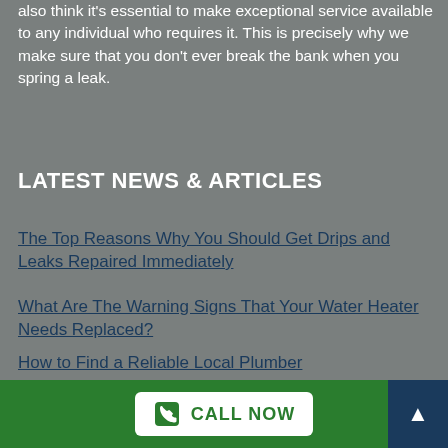also think it's essential to make exceptional service available to any individual who requires it. This is precisely why we make sure that you don't ever break the bank when you spring a leak.
LATEST NEWS & ARTICLES
The Top Reasons Why You Should Get Drips and Leaks Repaired Immediately
What Are The Warning Signs That Your Water Heater Needs Replaced?
How to Find a Reliable Local Plumber
CONTACT INFORMATION
Address:
CALL NOW